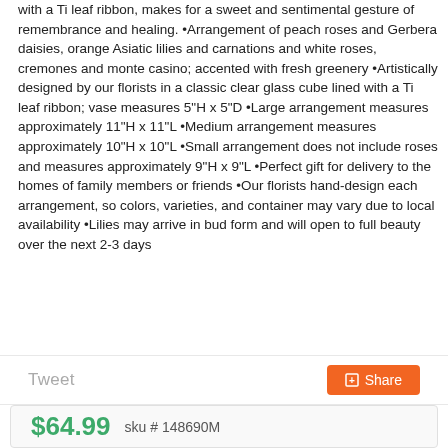with a Ti leaf ribbon, makes for a sweet and sentimental gesture of remembrance and healing. •Arrangement of peach roses and Gerbera daisies, orange Asiatic lilies and carnations and white roses, cremones and monte casino; accented with fresh greenery •Artistically designed by our florists in a classic clear glass cube lined with a Ti leaf ribbon; vase measures 5"H x 5"D •Large arrangement measures approximately 11"H x 11"L •Medium arrangement measures approximately 10"H x 10"L •Small arrangement does not include roses and measures approximately 9"H x 9"L •Perfect gift for delivery to the homes of family members or friends •Our florists hand-design each arrangement, so colors, varieties, and container may vary due to local availability •Lilies may arrive in bud form and will open to full beauty over the next 2-3 days
Tweet
Share
$64.99  sku # 148690M